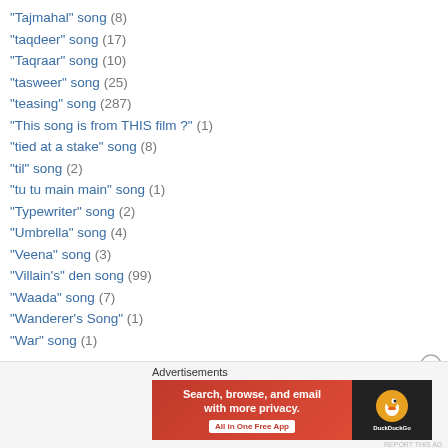"Tajmahal" song (8)
"taqdeer" song (17)
"Taqraar" song (10)
"tasweer" song (25)
"teasing" song (287)
"This song is from THIS film ?" (1)
"tied at a stake" song (8)
"til" song (2)
"tu tu main main" song (1)
"Typewriter" song (2)
"Umbrella" song (4)
"Veena" song (3)
"Villain's" den song (99)
"Waada" song (7)
"Wanderer's Song" (1)
"War" song (1)
[Figure (infographic): DuckDuckGo advertisement banner: 'Search, browse, and email with more privacy. All in One Free App' with DuckDuckGo logo on dark background]